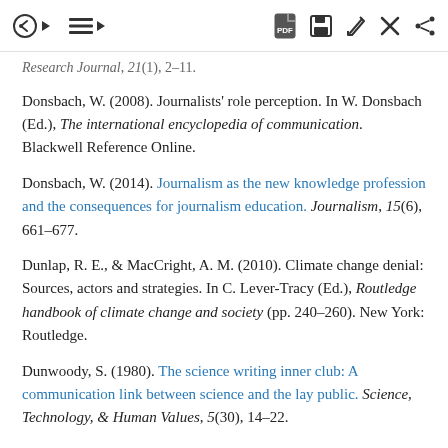[toolbar icons: back, list, PDF, save, edit, message, share]
Research Journal, 21(1), 2–11.
Donsbach, W. (2008). Journalists' role perception. In W. Donsbach (Ed.), The international encyclopedia of communication. Blackwell Reference Online.
Donsbach, W. (2014). Journalism as the new knowledge profession and the consequences for journalism education. Journalism, 15(6), 661–677.
Dunlap, R. E., & MacCright, A. M. (2010). Climate change denial: Sources, actors and strategies. In C. Lever-Tracy (Ed.), Routledge handbook of climate change and society (pp. 240–260). New York: Routledge.
Dunwoody, S. (1980). The science writing inner club: A communication link between science and the lay public. Science, Technology, & Human Values, 5(30), 14–22.